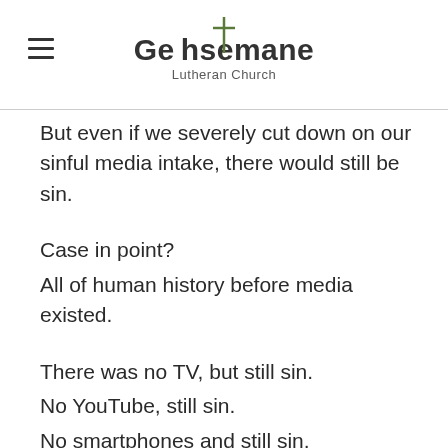Gethsemane Lutheran Church
But even if we severely cut down on our sinful media intake, there would still be sin.
Case in point?
All of human history before media existed.
There was no TV, but still sin.
No YouTube, still sin.
No smartphones and still sin.
Media is an influencer. It can lead us to sin, but it isn't